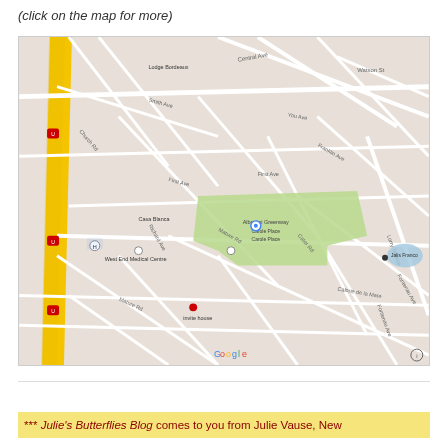(click on the map for more)
[Figure (map): Google Maps street map showing an urban area with roads, a green park area in the center, and various labeled streets and landmarks including West End Medical Centre, Casa Blanca, and a Google logo watermark.]
*** Julie's Butterflies Blog comes to you from Julie Vause, New